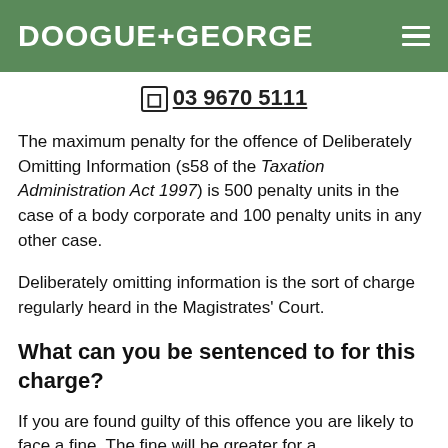DOOGUE+GEORGE
03 9670 5111
The maximum penalty for the offence of Deliberately Omitting Information (s58 of the Taxation Administration Act 1997) is 500 penalty units in the case of a body corporate and 100 penalty units in any other case.
Deliberately omitting information is the sort of charge regularly heard in the Magistrates' Court.
What can you be sentenced to for this charge?
If you are found guilty of this offence you are likely to face a fine. The fine will be greater for a